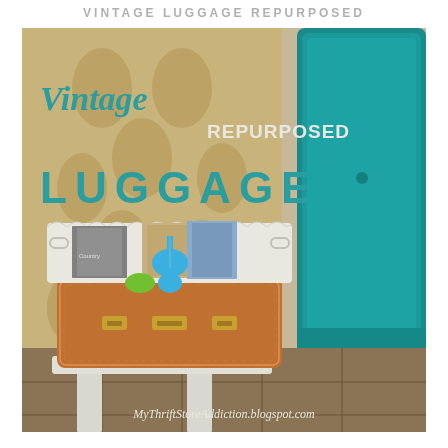VINTAGE LUGGAGE REPURPOSED
[Figure (photo): A vintage brown leather suitcase repurposed as a side table, topped with a white decorative tray holding magazines and a small toy guitar. A teal velvet chair is visible in the background right. Floral/damask curtain in background. The image contains overlaid text: 'Vintage', 'Repurposed', 'LUGGAGE', and the blog URL.]
MyThriftStoreAddiction.blogspot.com